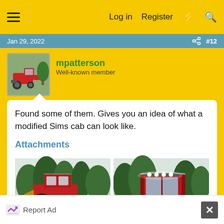Log in  Register
Jan 29, 2022  #12
mpatterson
Well-known member
Found some of them. Gives you an idea of what a modified Sims cab can look like.
Attachments
[Figure (photo): Two photos of a red tractor with a modified Sims cab in a snowy, tree-lined setting. Left photo shows the tractor from the left side. Right photo shows the tractor cab front-on with LED lights on top.]
Report Ad